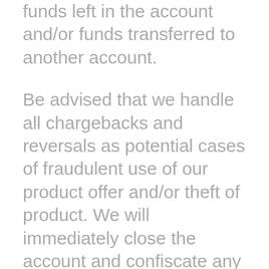funds left in the account and/or funds transferred to another account.
Be advised that we handle all chargebacks and reversals as potential cases of fraudulent use of our product offer and/or theft of product. We will immediately close the account and confiscate any funds left in the account and/or funds transferred to another account. In cases where we have provided a product and we have verified that a customer has received a product and/or refused or returned product(s), whether or not they have used the product in any way, possible actions taken by the Company may include filing a complaint